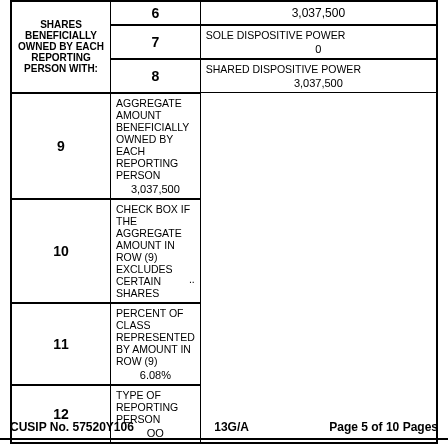|  | Row | Description |
| --- | --- | --- |
| SHARES BENEFICIALLY OWNED BY EACH REPORTING PERSON WITH: | 6 | 3,037,500 |
|  | 7 | SOLE DISPOSITIVE POWER
0 |
|  | 8 | SHARED DISPOSITIVE POWER
3,037,500 |
|  | 9 | AGGREGATE AMOUNT BENEFICIALLY OWNED BY EACH REPORTING PERSON
3,037,500 |
|  | 10 | CHECK BOX IF THE AGGREGATE AMOUNT IN ROW (9) EXCLUDES CERTAIN SHARES  .. |
|  | 11 | PERCENT OF CLASS REPRESENTED BY AMOUNT IN ROW (9)
6.08% |
|  | 12 | TYPE OF REPORTING PERSON
OO |
CUSIP No. 57520Y106    13G/A    Page 5 of 10 Pages